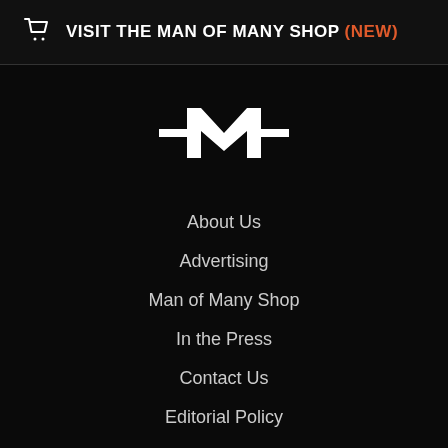🛒 VISIT THE MAN OF MANY SHOP (NEW)
[Figure (logo): Man of Many logo — stylized M with horizontal crossbars on each side, white on black background]
About Us
Advertising
Man of Many Shop
In the Press
Contact Us
Editorial Policy
Privacy Policy
Terms and Conditions
Manage Subscription